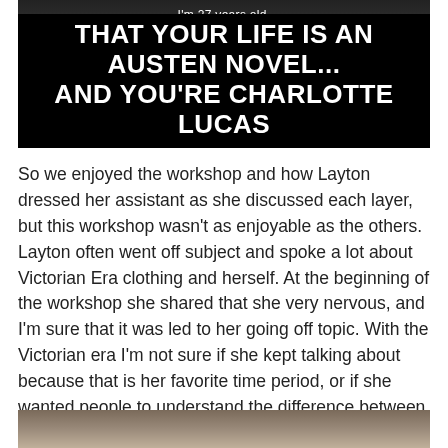[Figure (screenshot): Dark background image with white text reading 'I'm 27 years old. I've no money and no prospects.' and a black banner at the bottom with large bold white text reading 'THAT YOUR LIFE IS AN AUSTEN NOVEL... AND YOU'RE CHARLOTTE LUCAS']
So we enjoyed the workshop and how Layton dressed her assistant as she discussed each layer, but this workshop wasn't as enjoyable as the others. Layton often went off subject and spoke a lot about Victorian Era clothing and herself. At the beginning of the workshop she shared that she very nervous, and I'm sure that it was led to her going off topic. With the Victorian era I'm not sure if she kept talking about because that is her favorite time period, or if she wanted people to understand the difference between the time periods.
[Figure (photo): Partial photo visible at the bottom of the page, appears to show people, cropped]